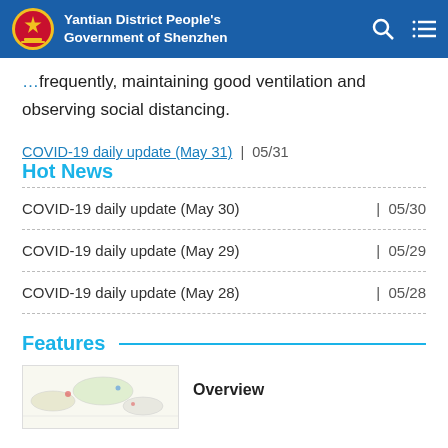Yantian District People's Government of Shenzhen
frequently, maintaining good ventilation and observing social distancing.
Hot News
COVID-19 daily update (May 31) | 05/31
COVID-19 daily update (May 30) | 05/30
COVID-19 daily update (May 29) | 05/29
COVID-19 daily update (May 28) | 05/28
Features
Overview